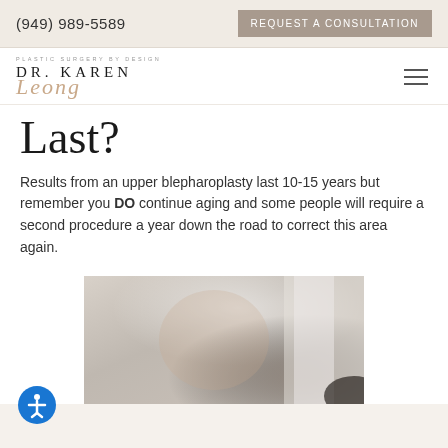(949) 989-5589  REQUEST A CONSULTATION
[Figure (logo): Dr. Karen Leong plastic surgery logo with stylized script text]
Last?
Results from an upper blepharoplasty last 10-15 years but remember you DO continue aging and some people will require a second procedure a year down the road to correct this area again.
[Figure (photo): Photo of a person looking in a mirror, partially visible, warm neutral tones]